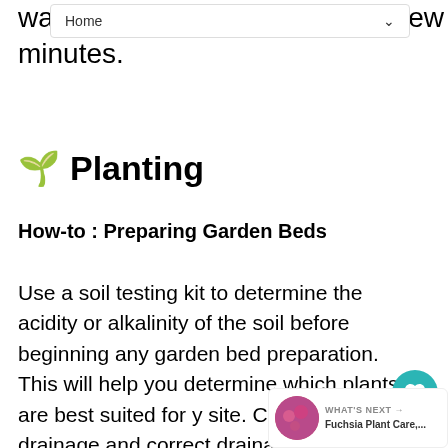wa... ew minutes.
Home
🌱 Planting
How-to : Preparing Garden Beds
Use a soil testing kit to determine the acidity or alkalinity of the soil before beginning any garden bed preparation. This will help you determine which plants are best suited for y site. Check soil drainage and correct draina where standing water remains. Clear weeds and debris from planting areas and remove weeds as soon as they come up.